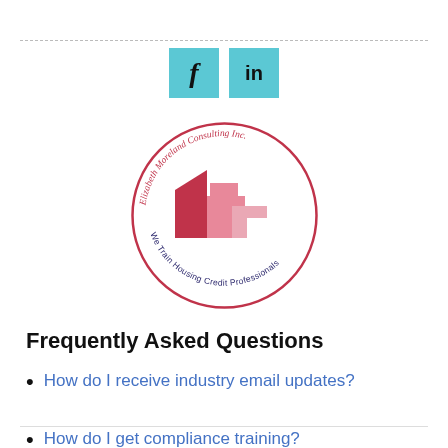[Figure (logo): Two cyan social media icon buttons: Facebook (f) and LinkedIn (in) on cyan/teal square backgrounds]
[Figure (logo): Elizabeth Moreland Consulting Inc. circular logo with geometric house shapes in dark red and pink, with text curved around: 'Elizabeth Moreland Consulting Inc.' and 'We Train Housing Credit Professionals']
Frequently Asked Questions
How do I receive industry email updates?
How do I get compliance training?